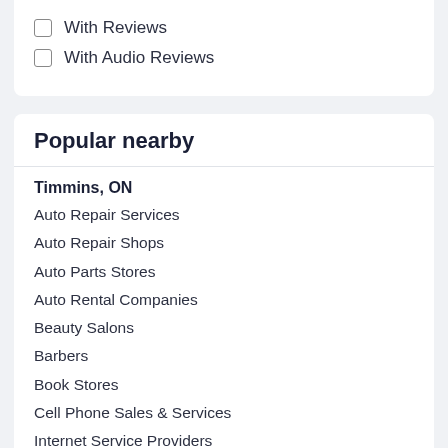With Reviews
With Audio Reviews
Popular nearby
Timmins, ON
Auto Repair Services
Auto Repair Shops
Auto Parts Stores
Auto Rental Companies
Beauty Salons
Barbers
Book Stores
Cell Phone Sales & Services
Internet Service Providers